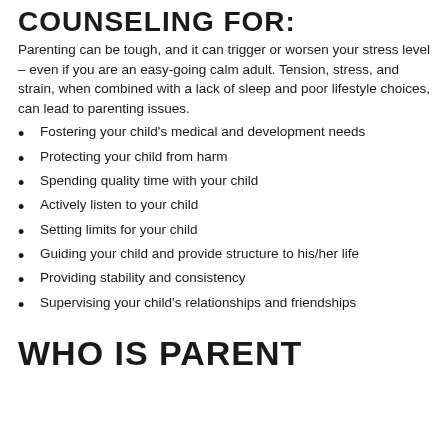COUNSELING FOR:
Parenting can be tough, and it can trigger or worsen your stress level – even if you are an easy-going calm adult. Tension, stress, and strain, when combined with a lack of sleep and poor lifestyle choices, can lead to parenting issues.
Fostering your child's medical and development needs
Protecting your child from harm
Spending quality time with your child
Actively listen to your child
Setting limits for your child
Guiding your child and provide structure to his/her life
Providing stability and consistency
Supervising your child's relationships and friendships
WHO IS PARENT